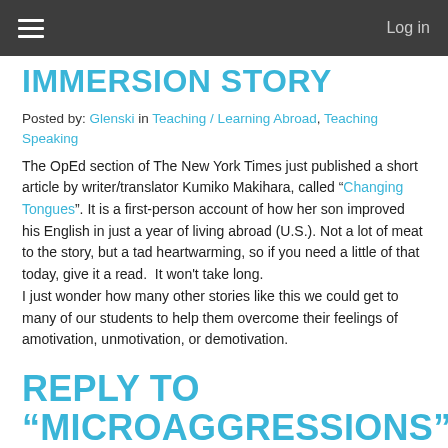Log in
IMMERSION STORY
Posted by: Glenski in Teaching / Learning Abroad, Teaching Speaking
The OpEd section of The New York Times just published a short article by writer/translator Kumiko Makihara, called “Changing Tongues”. It is a first-person account of how her son improved his English in just a year of living abroad (U.S.). Not a lot of meat to the story, but a tad heartwarming, so if you need a little of that today, give it a read. It won't take long.
I just wonder how many other stories like this we could get to many of our students to help them overcome their feelings of amotivation, unmotivation, or demotivation.
REPLY TO “MICROAGGRESSIONS” CLAIMS